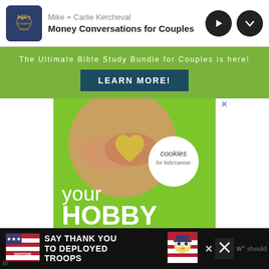Mike + Carlie Kercheval — Money Conversations for Couples
The Ultimate Bible Study Bundle for Couples is here!
LEARN MORE!
[Figure (photo): Cookies for Kids' Cancer advertisement: hands holding a heart-shaped cookie, with text 'your HOBBY is their HOPE — LEARN WHY']
[Figure (infographic): Operation Gratitude banner ad: SAY THANK YOU TO DEPLOYED TROOPS]